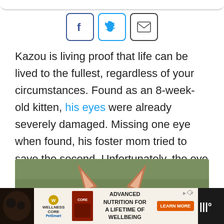[Figure (other): Social share icons row: Facebook (blue border, f), Twitter (cyan border, bird), Email (dark border, envelope)]
Kazou is living proof that life can be lived to the fullest, regardless of your circumstances. Found as an 8-week-old kitten, his eyes were already severely damaged. Missing one eye when found, his foster mom tried to save the second. Unfortunately, the eye could not be saved and was removed.
[Figure (photo): Photo of an orange and white cat, partially visible, showing ears and top of head against a blurred green background]
[Figure (other): Advertisement banner: Wellness Core / PetSmart - Advanced Nutrition For A Lifetime Of Wellbeing - Learn More button]